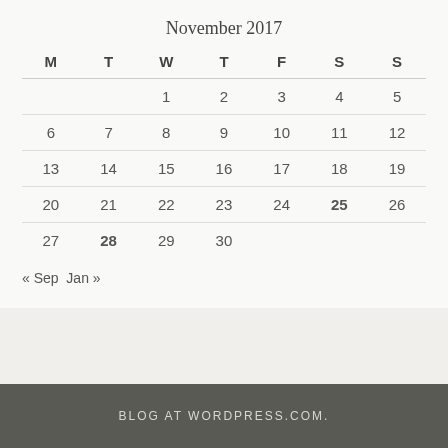November 2017
| M | T | W | T | F | S | S |
| --- | --- | --- | --- | --- | --- | --- |
|  |  | 1 | 2 | 3 | 4 | 5 |
| 6 | 7 | 8 | 9 | 10 | 11 | 12 |
| 13 | 14 | 15 | 16 | 17 | 18 | 19 |
| 20 | 21 | 22 | 23 | 24 | 25 | 26 |
| 27 | 28 | 29 | 30 |  |  |  |
« Sep   Jan »
BLOG AT WORDPRESS.COM.